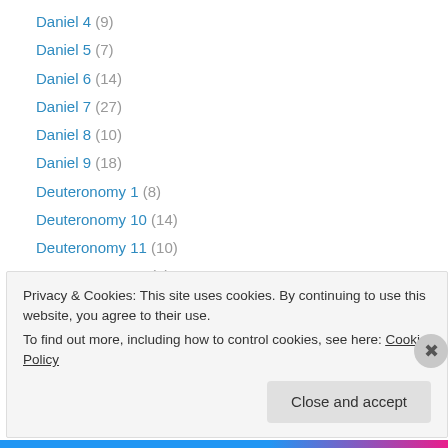Daniel 4 (9)
Daniel 5 (7)
Daniel 6 (14)
Daniel 7 (27)
Daniel 8 (10)
Daniel 9 (18)
Deuteronomy 1 (8)
Deuteronomy 10 (14)
Deuteronomy 11 (10)
Deuteronomy 12 (6)
Deuteronomy 14 (7)
Deuteronomy 15 (11)
Deuteronomy 16 (7)
Privacy & Cookies: This site uses cookies. By continuing to use this website, you agree to their use. To find out more, including how to control cookies, see here: Cookie Policy
Close and accept